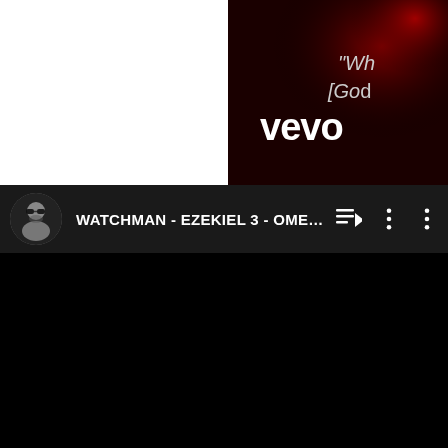[Figure (screenshot): YouTube mobile app screenshot showing two items: a Vevo music video thumbnail in the top right corner with dark red background, vevo logo in white bold text, and partial text 'Wh [GOD' visible; and a YouTube playlist/queue entry at the bottom showing a black and white avatar photo of a man with sunglasses and beard, with the title 'WATCHMAN - EZEKIEL 3 - OMEG...' in white bold text on dark background, along with queue and more options icons.]